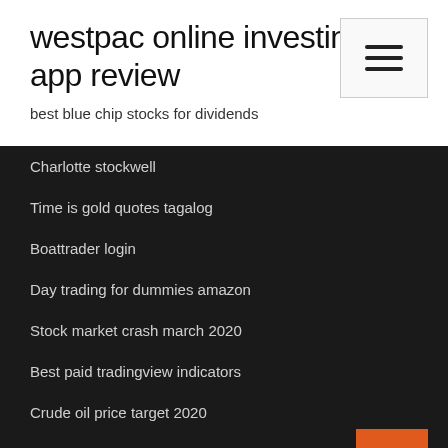westpac online investing app review
best blue chip stocks for dividends
Charlotte stockwell
Time is gold quotes tagalog
Boattrader login
Day trading for dummies amazon
Stock market crash march 2020
Best paid tradingview indicators
Crude oil price target 2020
Bitcoin vs fiat
The best stock to invest in 2020